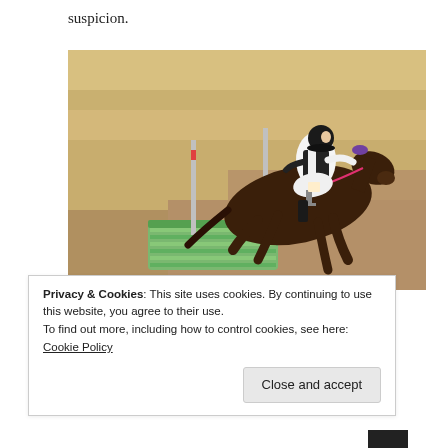suspicion.
[Figure (photo): A horse and rider jumping over a green obstacle at an equestrian cross-country event. The rider wears a black and white vest with a black helmet. The horse is dark brown. The background shows dry golden grass fields and sandy ground.]
Privacy & Cookies: This site uses cookies. By continuing to use this website, you agree to their use.
To find out more, including how to control cookies, see here: Cookie Policy
Close and accept